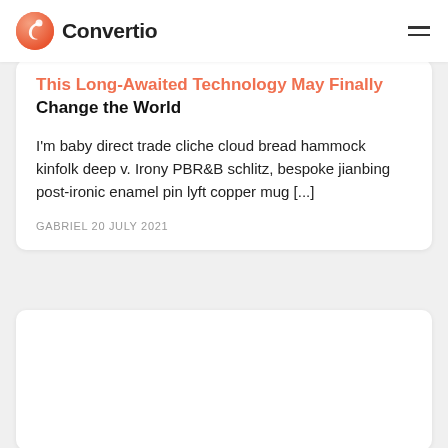Convertio
This Long-Awaited Technology May Finally Change the World
I'm baby direct trade cliche cloud bread hammock kinfolk deep v. Irony PBR&B schlitz, bespoke jianbing post-ironic enamel pin lyft copper mug [...]
GABRIEL 20 JULY 2021
[Figure (other): Second blog card with white background, partially visible at bottom of page]